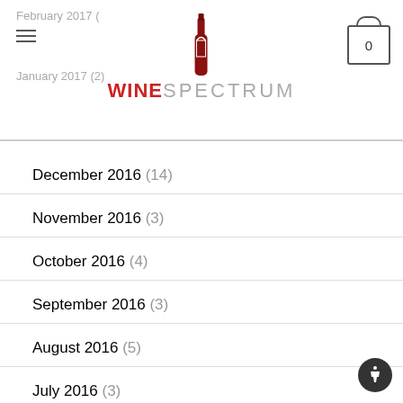February 2017 | WINESPECTRUM | January 2017 (2)
December 2016 (14)
November 2016 (3)
October 2016 (4)
September 2016 (3)
August 2016 (5)
July 2016 (3)
June 2016 (1)
May 2016 (1)
April 2016 (2)
March 2016 (5)